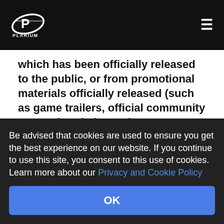Plarium logo and navigation menu
which has been officially released to the public, or from promotional materials officially released (such as game trailers, official community content) and please do not post spoilers which ruin the experience for others. In certain cases, we may authorize pre-release Gaming Content for review or other agreed upon business purposes, accompanied by strict
Be advised that cookies are used to ensure you get the best experience on our website. If you continue to use this site, you consent to this use of cookies. Learn more about our Privacy and Cookie Policy
OK